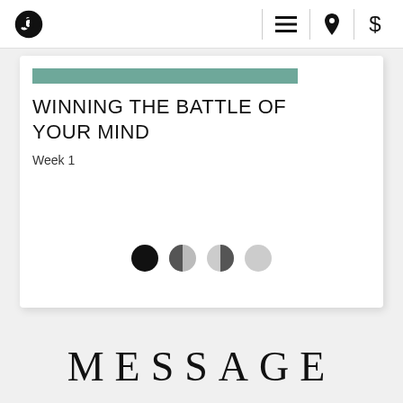Navigation bar with logo, menu, location, and dollar sign icons
[Figure (screenshot): App card showing 'WINNING THE BATTLE OF YOUR MIND' Week 1 with a teal progress bar and circular dots navigation indicator]
MESSAGE